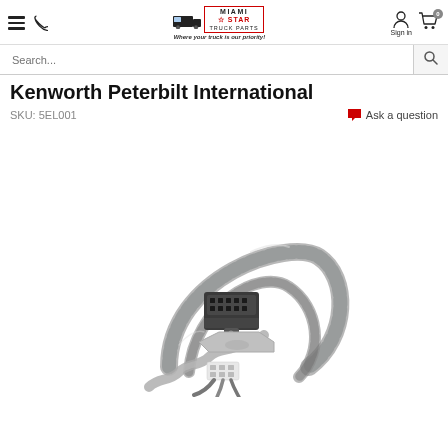Miami Star Truck Parts — Where your truck is our priority!
Kenworth Peterbilt International
SKU: 5EL001
Ask a question
[Figure (photo): Photo of a truck wiring harness/NOx sensor connector with braided cable and white plug connector, for Kenworth Peterbilt International trucks.]